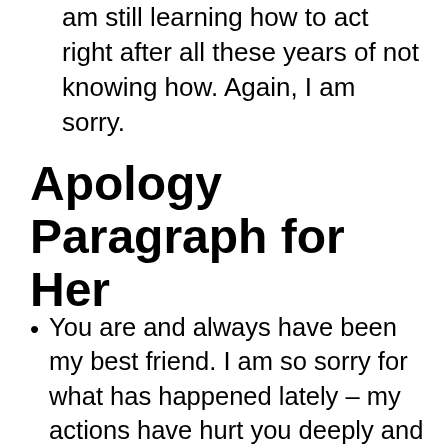am still learning how to act right after all these years of not knowing how. Again, I am sorry.
Apology Paragraph for Her
You are and always have been my best friend. I am so sorry for what has happened lately – my actions have hurt you deeply and I cannot express how truly sorry I am. I never meant to hurt your feelings, and now I realize what a mistake I made. Please forgive me. I know that you don't trust me at